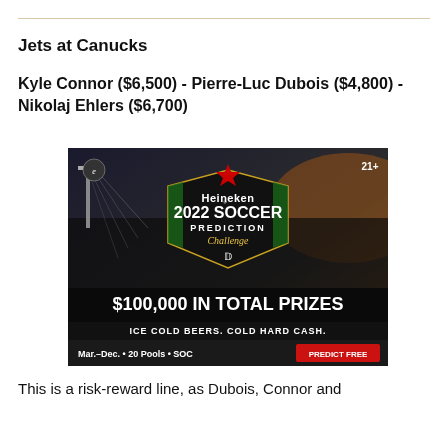Jets at Canucks
Kyle Connor ($6,500) - Pierre-Luc Dubois ($4,800) - Nikolaj Ehlers ($6,700)
[Figure (photo): Heineken 2022 Soccer Prediction Challenge advertisement. Background shows a stadium at night with floodlights. Center shield logo reads 'Heineken 2022 Soccer Prediction Challenge' with a red star. Bottom banner: '$100,000 IN TOTAL PRIZES. ICE COLD BEERS. COLD HARD CASH.' Footer: 'Mar.-Dec. 20 Pools SOC PREDICT FREE'. Top right: '21+'. Top left: small circular logo.]
This is a risk-reward line, as Dubois, Connor and